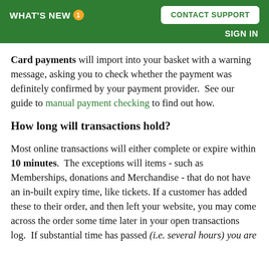WHAT'S NEW 1   CONTACT SUPPORT   SIGN IN
Card payments will import into your basket with a warning message, asking you to check whether the payment was definitely confirmed by your payment provider.  See our guide to manual payment checking to find out how.
How long will transactions hold?
Most online transactions will either complete or expire within 10 minutes.  The exceptions will items - such as Memberships, donations and Merchandise - that do not have an in-built expiry time, like tickets. If a customer has added these to their order, and then left your website, you may come across the order some time later in your open transactions log.  If substantial time has passed (i.e. several hours) you are